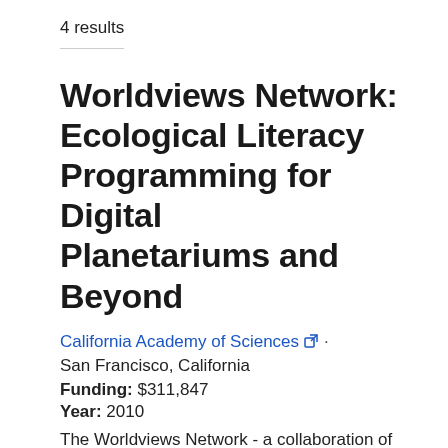4 results
Worldviews Network: Ecological Literacy Programming for Digital Planetariums and Beyond
California Academy of Sciences · San Francisco, California
Funding: $311,847
Year: 2010
The Worldviews Network - a collaboration of institutions that have pioneered Earth systems research, education and evaluation methods - is creating innovative